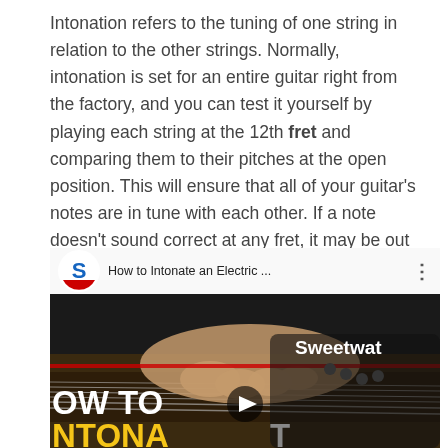Intonation refers to the tuning of one string in relation to the other strings. Normally, intonation is set for an entire guitar right from the factory, and you can test it yourself by playing each string at the 12th fret and comparing them to their pitches at the open position. This will ensure that all of your guitar's notes are in tune with each other. If a note doesn't sound correct at any fret, it may be out of tune or need some adjustment.
[Figure (screenshot): YouTube video embed showing 'How to Intonate an Electric ...' by Sweetwater, with a thumbnail of a hand playing an electric guitar and overlay text 'HOW TO INTONATE' with a play button.]